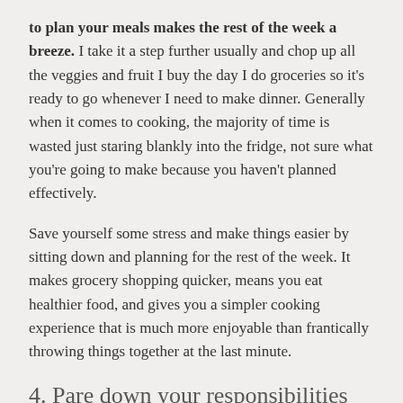to plan your meals makes the rest of the week a breeze. I take it a step further usually and chop up all the veggies and fruit I buy the day I do groceries so it's ready to go whenever I need to make dinner. Generally when it comes to cooking, the majority of time is wasted just staring blankly into the fridge, not sure what you're going to make because you haven't planned effectively.
Save yourself some stress and make things easier by sitting down and planning for the rest of the week. It makes grocery shopping quicker, means you eat healthier food, and gives you a simpler cooking experience that is much more enjoyable than frantically throwing things together at the last minute.
4. Pare down your responsibilities
Sometimes if we're super busy a lot of the time it's our